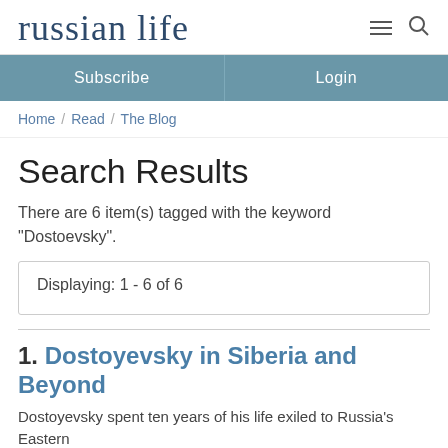russian life
Subscribe   Login
Home / Read / The Blog
Search Results
There are 6 item(s) tagged with the keyword "Dostoevsky".
Displaying: 1 - 6 of 6
1. Dostoyevsky in Siberia and Beyond
Dostoyevsky spent ten years of his life exiled to Russia's Eastern